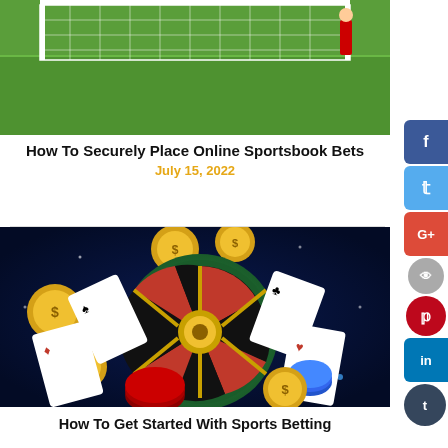[Figure (photo): Soccer goal post with green grass field in background]
How To Securely Place Online Sportsbook Bets
July 15, 2022
[Figure (illustration): Casino roulette wheel surrounded by playing cards, poker chips, and gold coins on dark blue background]
How To Get Started With Sports Betting